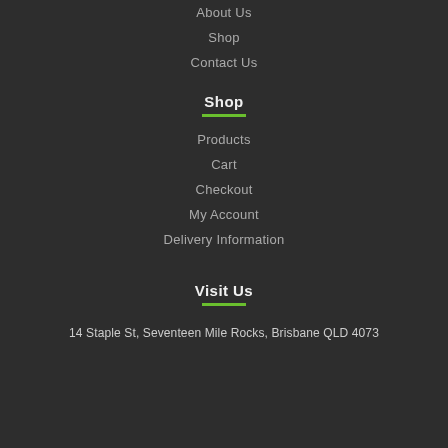About Us
Shop
Contact Us
Shop
Products
Cart
Checkout
My Account
Delivery Information
Visit Us
14 Staple St, Seventeen Mile Rocks, Brisbane QLD 4073